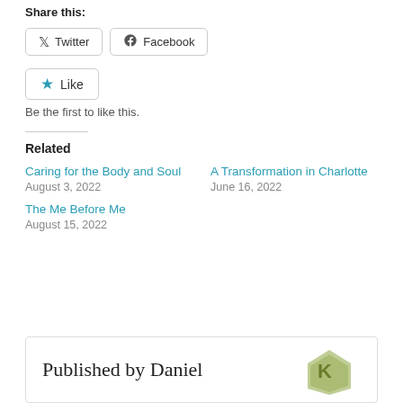Share this:
Twitter  Facebook
Like
Be the first to like this.
Related
Caring for the Body and Soul
August 3, 2022
A Transformation in Charlotte
June 16, 2022
The Me Before Me
August 15, 2022
Published by Daniel